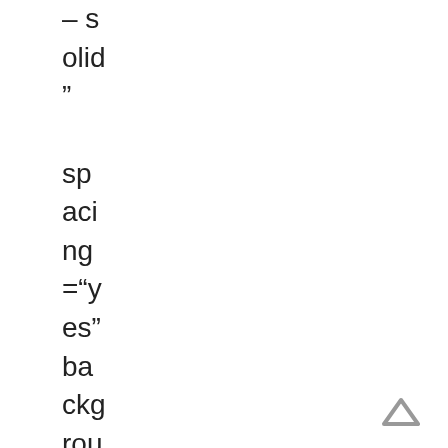="solid" spacing="yes" background_image="" ba
[Figure (other): Upward-pointing arrow/caret navigation icon in gray, bottom-right corner]